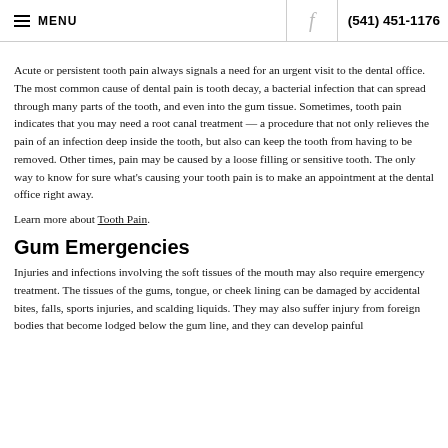≡ MENU   f   (541) 451-1176
Acute or persistent tooth pain always signals a need for an urgent visit to the dental office. The most common cause of dental pain is tooth decay, a bacterial infection that can spread through many parts of the tooth, and even into the gum tissue. Sometimes, tooth pain indicates that you may need a root canal treatment — a procedure that not only relieves the pain of an infection deep inside the tooth, but also can keep the tooth from having to be removed. Other times, pain may be caused by a loose filling or sensitive tooth. The only way to know for sure what's causing your tooth pain is to make an appointment at the dental office right away.
Learn more about Tooth Pain.
Gum Emergencies
Injuries and infections involving the soft tissues of the mouth may also require emergency treatment. The tissues of the gums, tongue, or cheek lining can be damaged by accidental bites, falls, sports injuries, and scalding liquids. They may also suffer injury from foreign bodies that become lodged below the gum line, and they can develop painful